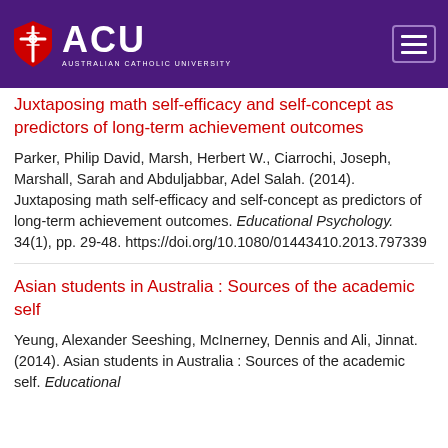[Figure (logo): Australian Catholic University (ACU) logo with shield icon and navigation hamburger button on purple header bar]
Juxtaposing math self-efficacy and self-concept as predictors of long-term achievement outcomes
Parker, Philip David, Marsh, Herbert W., Ciarrochi, Joseph, Marshall, Sarah and Abduljabbar, Adel Salah. (2014). Juxtaposing math self-efficacy and self-concept as predictors of long-term achievement outcomes. Educational Psychology. 34(1), pp. 29-48. https://doi.org/10.1080/01443410.2013.797339
Asian students in Australia : Sources of the academic self
Yeung, Alexander Seeshing, McInerney, Dennis and Ali, Jinnat. (2014). Asian students in Australia : Sources of the academic self. Educational